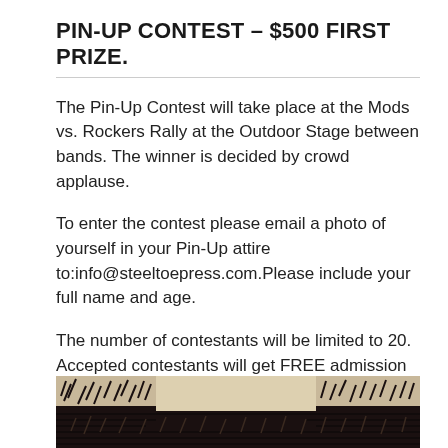PIN-UP CONTEST – $500 FIRST PRIZE.
The Pin-Up Contest will take place at the Mods vs. Rockers Rally at the Outdoor Stage between bands. The winner is decided by crowd applause.
To enter the contest please email a photo of yourself in your Pin-Up attire to:info@steeltoepress.com.Please include your full name and age.
The number of contestants will be limited to 20. Accepted contestants will get FREE admission to the show.You will be notified by email if you are selected as a contestant with details for participation.
[Figure (illustration): Black and white sketch/illustration visible at bottom of page showing what appears to be artistic line work with dark and light contrast areas]